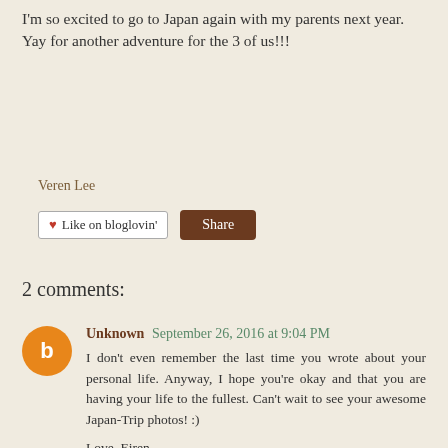I'm so excited to go to Japan again with my parents next year. Yay for another adventure for the 3 of us!!!
Veren Lee
[Figure (other): Like on bloglovin' button and Share button]
2 comments:
Unknown  September 26, 2016 at 9:04 PM
I don't even remember the last time you wrote about your personal life. Anyway, I hope you're okay and that you are having your life to the fullest. Can't wait to see your awesome Japan-Trip photos! :)

Love, Eiren.